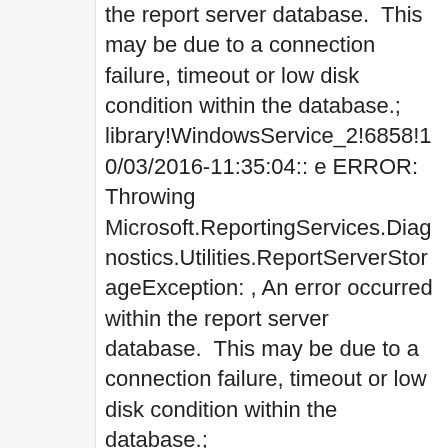the report server database.  This may be due to a connection failure, timeout or low disk condition within the database.; library!WindowsService_2!6858!10/03/2016-11:35:04:: e ERROR: Throwing Microsoft.ReportingServices.Diagnostics.Utilities.ReportServerStorageException: , An error occurred within the report server database.  This may be due to a connection failure, timeout or low disk condition within the database.; library!WindowsService_2!6858!10/03/2016-11:35:04:: e ERROR: Throwing Microsoft.ReportingServices.Diagnostics.Utilities.ReportServerStorageException: , An error occurred within the report server database.  This may be due to a connection failure, timeout or low disk condition within the database.; library!WindowsService_2!6858!10/03/2016-11:35:04:: e ERROR: Throwing Microsoft.ReportingServices.Diagnostics.Utilities.ReportServerStorageException: , An error occurred within the report server database.  This may be due to a connection failure, timeout or low disk condition within